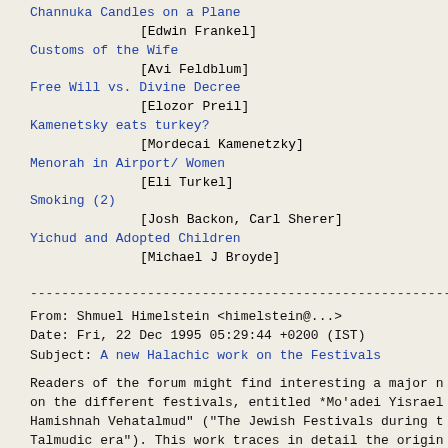Channuka Candles on a Plane [Edwin Frankel]
Customs of the Wife [Avi Feldblum]
Free Will vs. Divine Decree [Elozor Preil]
Kamenetsky eats turkey? [Mordecai Kamenetzky]
Menorah in Airport/ Women [Eli Turkel]
Smoking (2) [Josh Backon, Carl Sherer]
Yichud and Adopted Children [Michael J Broyde]
----------------------------------------------------------------------
From: Shmuel Himelstein <himelstein@...>
Date: Fri, 22 Dec 1995 05:29:44 +0200 (IST)
Subject: A new Halachic work on the Festivals
Readers of the forum might find interesting a major n on the different festivals, entitled *Mo'adei Yisrael Hamishnah Vehatalmud" ("The Jewish Festivals during t Talmudic era"). This work traces in detail the origin most basic practices of the different festivals.
The author is Harav Professor Yosef Tabory (Tavori)